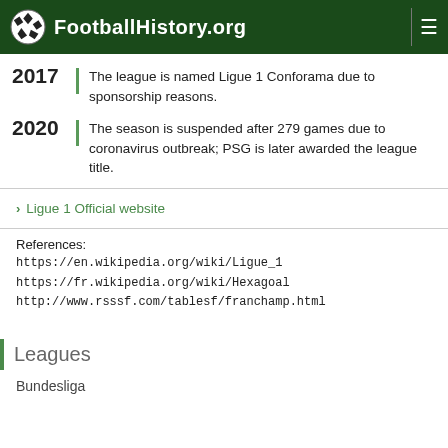FootballHistory.org
2017 | The league is named Ligue 1 Conforama due to sponsorship reasons.
2020 | The season is suspended after 279 games due to coronavirus outbreak; PSG is later awarded the league title.
› Ligue 1 Official website
References:
https://en.wikipedia.org/wiki/Ligue_1
https://fr.wikipedia.org/wiki/Hexagoal
http://www.rsssf.com/tablesf/franchamp.html
Leagues
Bundesliga